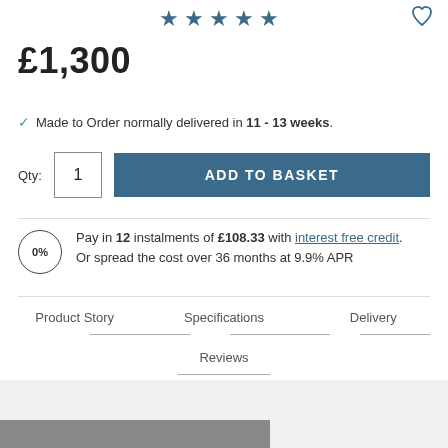[Figure (illustration): Five blue star rating icons centered at top of page, with a heart/wishlist icon at top right]
£1,300
Made to Order normally delivered in 11 - 13 weeks.
Qty: 1  ADD TO BASKET
Pay in 12 instalments of £108.33 with interest free credit. Or spread the cost over 36 months at 9.9% APR
Product Story
Specifications
Delivery
Reviews